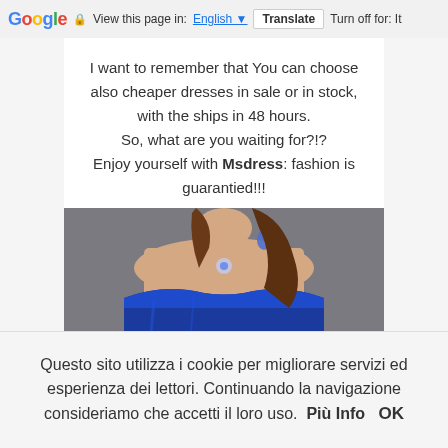Google | View this page in: English | Translate | Turn off for: It
I want to remember that You can choose also cheaper dresses in sale or in stock, with the ships in 48 hours. So, what are you waiting for?!? Enjoy yourself with Msdress: fashion is guarantied!!!
[Figure (photo): Partial photo of a woman wearing a blue strapless dress with blue earrings, cropped at the torso/neck area, against a gray background.]
Questo sito utilizza i cookie per migliorare servizi ed esperienza dei lettori. Continuando la navigazione consideriamo che accetti il loro uso. Più Info OK